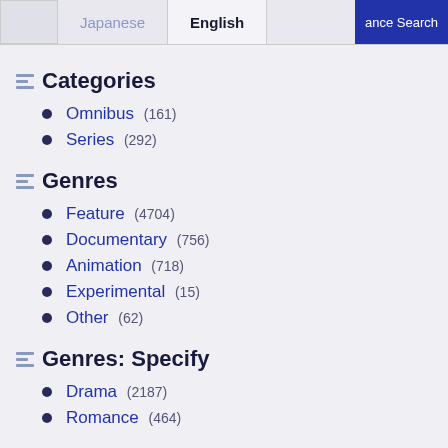Japanese | English | ance Search
Categories
Omnibus (161)
Series (292)
Genres
Feature (4704)
Documentary (756)
Animation (718)
Experimental (15)
Other (62)
Genres: Specify
Drama (2187)
Romance (464)